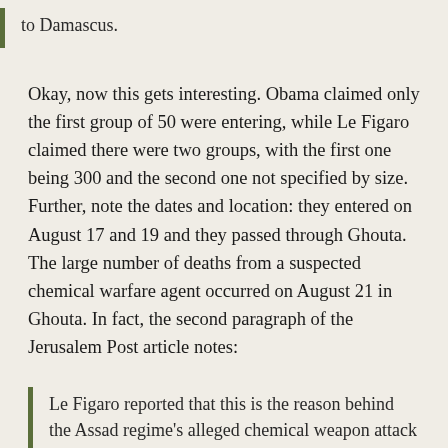to Damascus.
Okay, now this gets interesting. Obama claimed only the first group of 50 were entering, while Le Figaro claimed there were two groups, with the first one being 300 and the second one not specified by size. Further, note the dates and location: they entered on August 17 and 19 and they passed through Ghouta. The large number of deaths from a suspected chemical warfare agent occurred on August 21 in Ghouta. In fact, the second paragraph of the Jerusalem Post article notes:
Le Figaro reported that this is the reason behind the Assad regime's alleged chemical weapon attack in